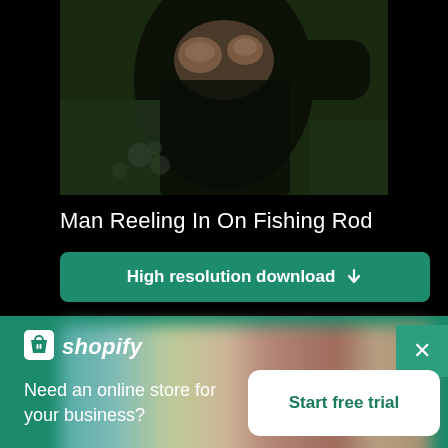[Figure (photo): Photo of a man reeling in a fishing rod, showing hands and dark outdoor background with foliage]
Man Reeling In On Fishing Rod
High resolution download ↓
[Figure (photo): Blurred/pixelated second photo preview]
[Figure (logo): Shopify logo with shopping bag icon and italic shopify text]
Need an online store for your business?
Start free trial